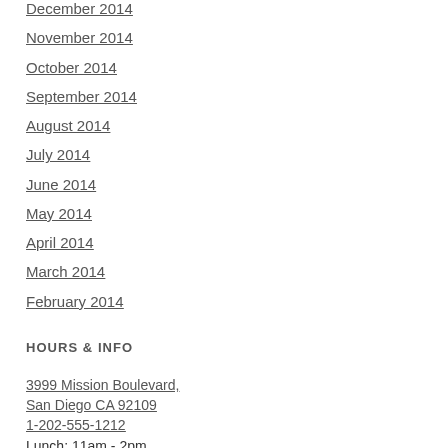December 2014
November 2014
October 2014
September 2014
August 2014
July 2014
June 2014
May 2014
April 2014
March 2014
February 2014
HOURS & INFO
3999 Mission Boulevard, San Diego CA 92109
1-202-555-1212
Lunch: 11am - 2pm
Dinner: M-Th 5pm - 11pm, Fri-Sat:5pm - 1am